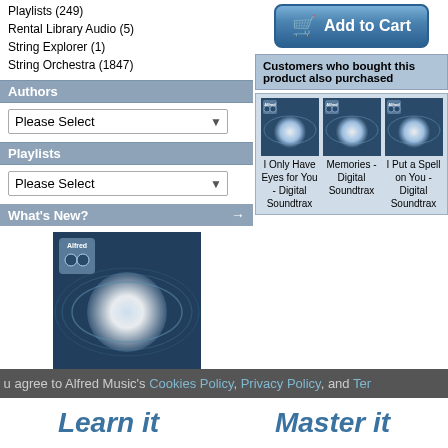Playlists (249)
Rental Library Audio (5)
String Explorer (1)
String Orchestra (1847)
Authors
Please Select
Playlists
Please Select
What's New?
[Figure (photo): Album cover art - Alfred Music logo with blue abstract design]
Tu Lo Sai (Medium Low Voice), from 26 Italian Songs and Arias
$4.99
Information
Contact Us
Product Request
Add to Cart
Customers who bought this product also purchased
[Figure (photo): Album cover - I Only Have Eyes for You - Digital Soundtrax]
I Only Have Eyes for You - Digital Soundtrax
[Figure (photo): Album cover - Memories - Digital Soundtrax]
Memories - Digital Soundtrax
[Figure (photo): Album cover - I Put a Spell on You - Digital Soundtrax]
I Put a Spell on You - Digital Soundtrax
u agree to Alfred Music's Cookies Policy, Privacy Policy, and Ter...
Learn it   Master it